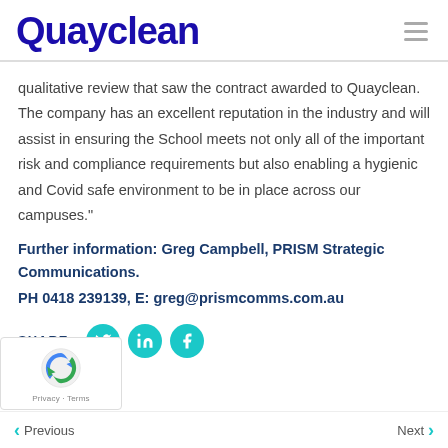Quayclean
qualitative review that saw the contract awarded to Quayclean. The company has an excellent reputation in the industry and will assist in ensuring the School meets not only all of the important risk and compliance requirements but also enabling a hygienic and Covid safe environment to be in place across our campuses."
Further information: Greg Campbell, PRISM Strategic Communications.
PH 0418 239139, E: greg@prismcomms.com.au
SHARE :
Previous   Next